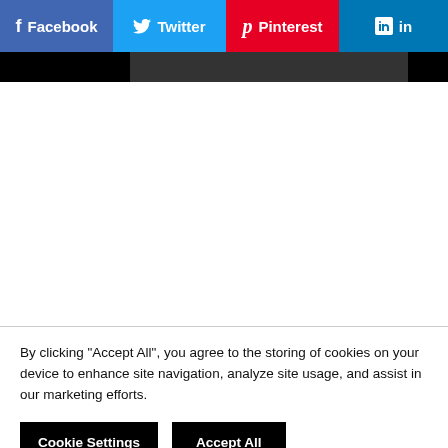[Figure (screenshot): Social media sharing buttons row: Facebook (blue), Twitter (light blue), Pinterest (red), LinkedIn (blue, partially visible)]
[Figure (screenshot): Dark navigation bar with black sections on left and right, dark gray center]
By clicking “Accept All”, you agree to the storing of cookies on your device to enhance site navigation, analyze site usage, and assist in our marketing efforts.
Cookie Settings   Accept All